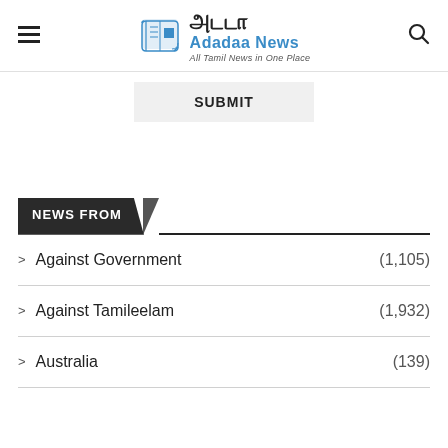அடடா Adadaa News All Tamil News in One Place
SUBMIT
NEWS FROM
Against Government (1,105)
Against Tamileelam (1,932)
Australia (139)